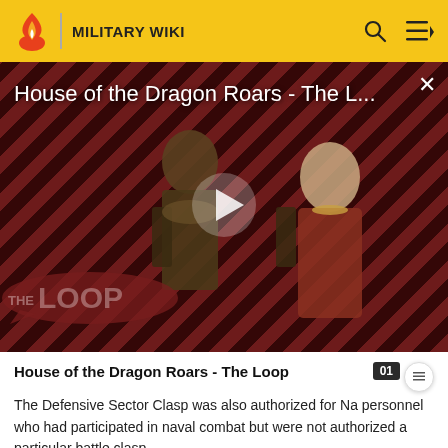MILITARY WIKI
[Figure (screenshot): Video thumbnail for 'House of the Dragon Roars - The L...' showing two characters (a knight in armor and a woman) against a diagonal red and dark stripe background, with a white play button in the center and 'THE LOOP' logo overlay in the bottom left. An X close button appears in the top right.]
House of the Dragon Roars - The Loop
The Defensive Sector Clasp was also authorized for Na personnel who had participated in naval combat but were not authorized a particular battle clasp.